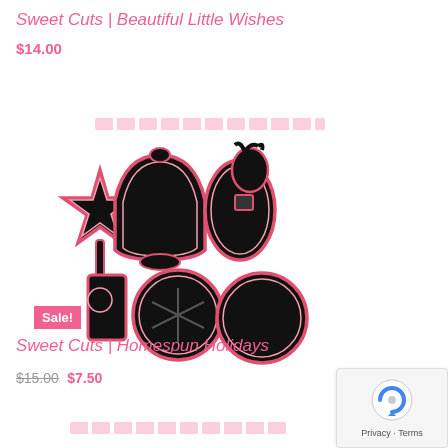Sweet Cuts | Beautiful Little Wishes
$14.00
[Figure (illustration): Blurred/partially visible product image at top, showing faint pink text links]
Sale!
[Figure (illustration): Black silhouette die-cut shapes of Christmas cookie cutters: star, bell, reindeer, gift box, circle with snowflake, arranged as a group. Outlined in pink/red strokes on white background.]
Sweet Cuts | Homespun Holidays
$15.00 $7.50
[Figure (illustration): Blurred/partially visible bottom product listing with pink link text]
[Figure (other): reCAPTCHA privacy badge in bottom right corner with Google reCAPTCHA logo and Privacy · Terms text]